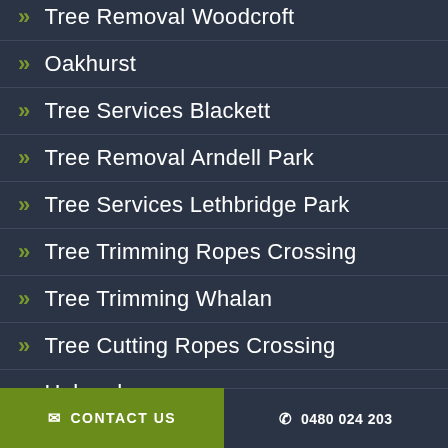Tree Removal Woodcroft
Oakhurst
Tree Services Blackett
Tree Removal Arndell Park
Tree Services Lethbridge Park
Tree Trimming Ropes Crossing
Tree Trimming Whalan
Tree Cutting Ropes Crossing
Hebersham
CONTACT US   0480 024 203